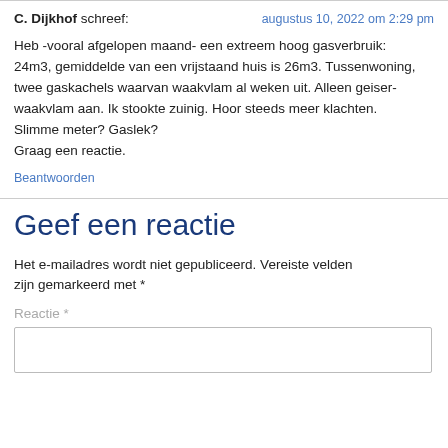C. Dijkhof schreef: augustus 10, 2022 om 2:29 pm
Heb -vooral afgelopen maand- een extreem hoog gasverbruik: 24m3, gemiddelde van een vrijstaand huis is 26m3. Tussenwoning, twee gaskachels waarvan waakvlam al weken uit. Alleen geiser-waakvlam aan. Ik stookte zuinig. Hoor steeds meer klachten. Slimme meter? Gaslek?
Graag een reactie.
Beantwoorden
Geef een reactie
Het e-mailadres wordt niet gepubliceerd. Vereiste velden zijn gemarkeerd met *
Reactie *